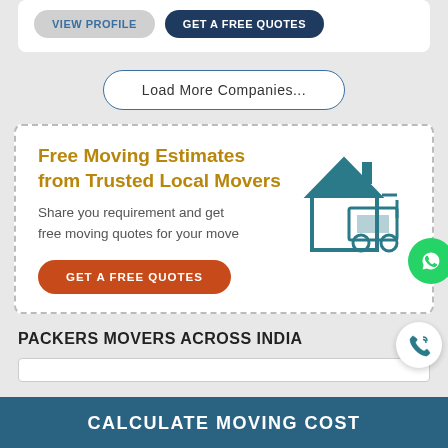[Figure (screenshot): Top card with VIEW PROFILE and GET A FREE QUOTES buttons]
Load More Companies...
Free Moving Estimates from Trusted Local Movers
Share you requirement and get free moving quotes for your move
GET A FREE QUOTES
PACKERS MOVERS ACROSS INDIA
CALCULATE MOVING COST